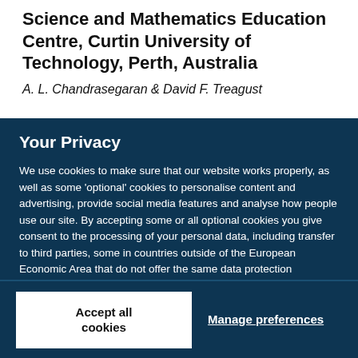Science and Mathematics Education Centre, Curtin University of Technology, Perth, Australia
A. L. Chandrasegaran & David F. Treagust
Your Privacy
We use cookies to make sure that our website works properly, as well as some 'optional' cookies to personalise content and advertising, provide social media features and analyse how people use our site. By accepting some or all optional cookies you give consent to the processing of your personal data, including transfer to third parties, some in countries outside of the European Economic Area that do not offer the same data protection standards as the country where you live. You can decide which optional cookies to accept by clicking on 'Manage Settings', where you can also find more information about how your personal data is processed. Further information can be found in our privacy policy.
Accept all cookies
Manage preferences